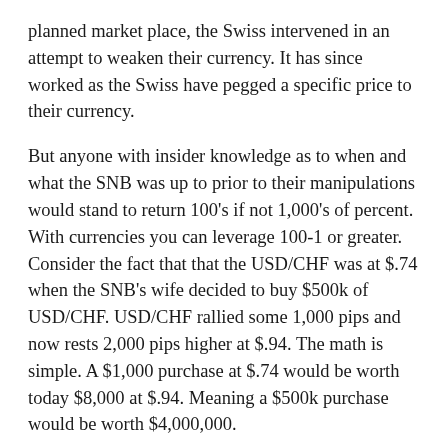planned market place, the Swiss intervened in an attempt to weaken their currency. It has since worked as the Swiss have pegged a specific price to their currency.
But anyone with insider knowledge as to when and what the SNB was up to prior to their manipulations would stand to return 100's if not 1,000's of percent. With currencies you can leverage 100-1 or greater. Consider the fact that that the USD/CHF was at $.74 when the SNB's wife decided to buy $500k of USD/CHF. USD/CHF rallied some 1,000 pips and now rests 2,000 pips higher at $.94. The math is simple. A $1,000 purchase at $.74 would be worth today $8,000 at $.94. Meaning a $500k purchase would be worth $4,000,000.
Sure she thought the CHF was too strong, or the dollar was too weak. But shes the SNB chairmans wife. She's either really dumb, or she knew she would get away with it.... and I don't think shes dumb at all. Just another example of the rich standing on the pedestal, taking what they think the hard